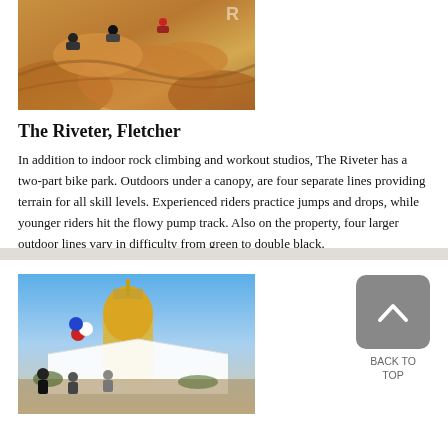[Figure (photo): Aerial view of a BMX/mountain bike dirt park with riders on orange clay jumps and berms]
The Riveter, Fletcher
In addition to indoor rock climbing and workout studios, The Riveter has a two-part bike park. Outdoors under a canopy, are four separate lines providing terrain for all skill levels. Experienced riders practice jumps and drops, while younger riders hit the flowy pump track. Also on the property, four larger outdoor lines vary in difficulty from green to double black.
Save to Trip
Go to their website.
[Figure (photo): Outdoor farmers market scene with a golden dome building in background, white tent, red and blue balloons, and crowd of people]
[Figure (other): Back to top button - grey rounded square with upward chevron arrow]